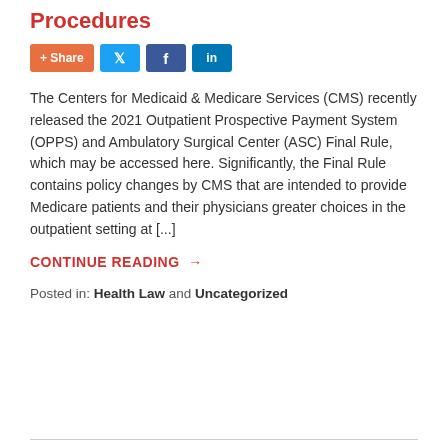Procedures
[Figure (other): Social sharing buttons: + Share, Twitter, Facebook, LinkedIn]
The Centers for Medicaid & Medicare Services (CMS) recently released the 2021 Outpatient Prospective Payment System (OPPS) and Ambulatory Surgical Center (ASC) Final Rule, which may be accessed here. Significantly, the Final Rule contains policy changes by CMS that are intended to provide Medicare patients and their physicians greater choices in the outpatient setting at [...]
CONTINUE READING →
Posted in: Health Law and Uncategorized